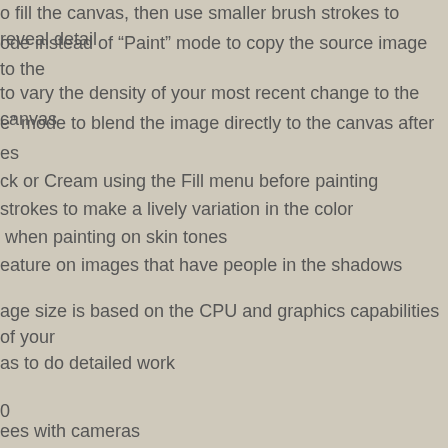o fill the canvas, then use smaller brush strokes to reveal detail
ode instead of “Paint” mode to copy the source image to the
to vary the density of your most recent change to the canvas
e” mode to blend the image directly to the canvas after
es
ck or Cream using the Fill menu before painting
strokes to make a lively variation in the color
when painting on skin tones
eature on images that have people in the shadows
age size is based on the CPU and graphics capabilities of your
as to do detailed work
0
ees with cameras
provided
R) correction
brightness control